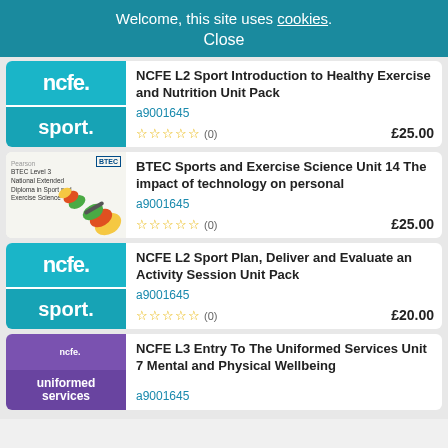Welcome, this site uses cookies. Close
NCFE L2 Sport Introduction to Healthy Exercise and Nutrition Unit Pack
a9001645
☆☆☆☆☆ (0)  £25.00
BTEC Sports and Exercise Science Unit 14 The impact of technology on personal
a9001645
☆☆☆☆☆ (0)  £25.00
NCFE L2 Sport Plan, Deliver and Evaluate an Activity Session Unit Pack
a9001645
☆☆☆☆☆ (0)  £20.00
NCFE L3 Entry To The Uniformed Services Unit 7 Mental and Physical Wellbeing
a9001645